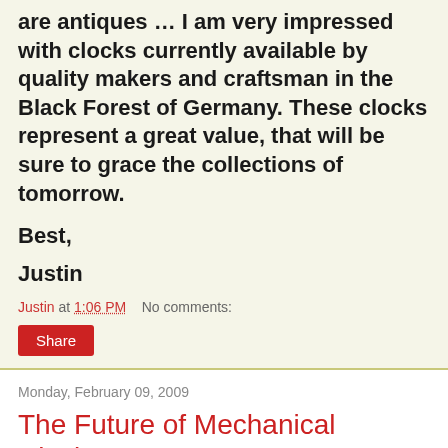are antiques … I am very impressed with clocks currently available by quality makers and craftsman in the Black Forest of Germany. These clocks represent a great value, that will be sure to grace the collections of tomorrow.
Best,
Justin
Justin at 1:06 PM   No comments:
Share
Monday, February 09, 2009
The Future of Mechanical Clocks?
The 10,000 year clock